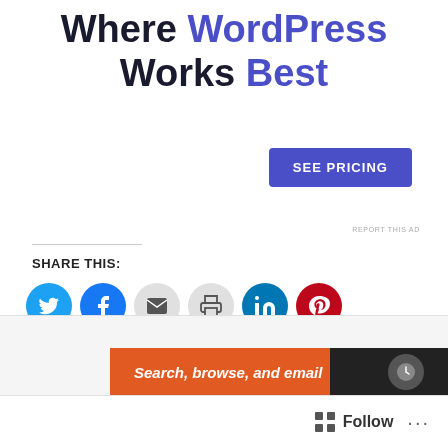Where WordPress Works Best
[Figure (other): SEE PRICING button — blue rounded rectangle with white uppercase text]
REPORT THIS AD
Share this:
[Figure (other): Social sharing icons row: Twitter (blue), Facebook (blue), Email (gray), Print (gray), LinkedIn (teal), Pinterest (red)]
[Figure (other): Like button with star icon]
Be the first to like this.
Related
Advertisements
[Figure (other): Advertisement banner: orange background with text 'Search, browse, and email' and dark section with circular icon]
[Figure (other): Follow button with grid icon and ellipsis (...)]